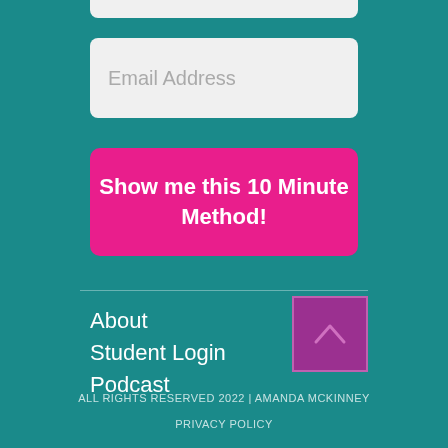[Figure (screenshot): Partially visible white input field at the top of the page (cropped)]
Email Address
Show me this 10 Minute Method!
About
Student Login
Podcast
ALL RIGHTS RESERVED 2022 | AMANDA MCKINNEY
PRIVACY POLICY